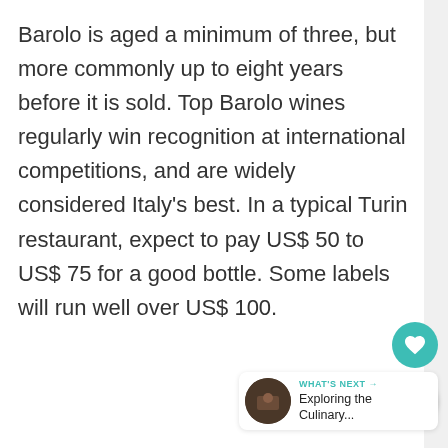Barolo is aged a minimum of three, but more commonly up to eight years before it is sold. Top Barolo wines regularly win recognition at international competitions, and are widely considered Italy's best. In a typical Turin restaurant, expect to pay US$ 50 to US$ 75 for a good bottle. Some labels will run well over US$ 100.
[Figure (other): Teal heart/favorite button icon]
[Figure (other): Share button icon (white circle with share symbol)]
[Figure (other): WHAT'S NEXT navigation panel with thumbnail image and text 'Exploring the Culinary...']